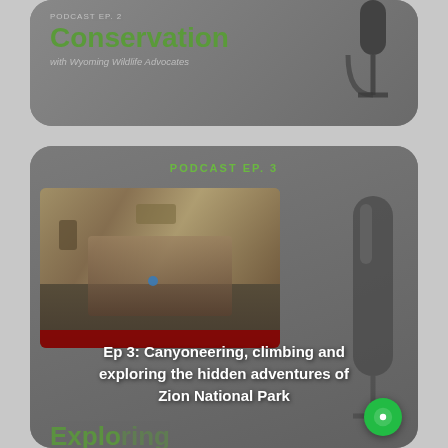[Figure (screenshot): Top podcast card showing title 'Conservation with Wyoming Wildlife Advocates' with a green bold heading and a microphone silhouette on a gray background]
Conservation
with Wyoming Wildlife Advocates
[Figure (screenshot): Bottom podcast card labeled 'PODCAST EP. 3' showing a canyoneering/climbing background image, overlay text 'Ep 3: Canyoneering, climbing and exploring the hidden adventures of Zion National Park', partial large text 'Exploring... and Canyoneer', subtitle 'with Zion Rock and Nav Guides', and a microphone silhouette on the right]
PODCAST EP. 3
Ep 3: Canyoneering, climbing and exploring the hidden adventures of Zion National Park
Exploring... and Canyoneer
with Zion Rock and Nav Guides